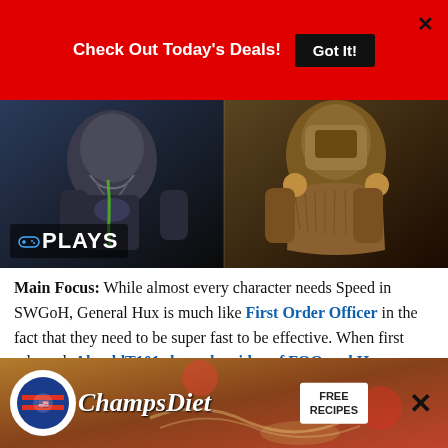Check Out Today's Deals!  Got It!
[Figure (screenshot): Two alien/armored game characters side by side with 'PLAYS' badge overlay on dark background]
Main Focus: While almost every character needs Speed in SWGoH, General Hux is much like First Order Officer in the fact that they need to be super fast to be effective. When first released, AhnaldT101 showed a video of FOO and Hux working together, but the addition of Supreme Leader Kylo Ren to SWGoH was where General Hux became the most necessary. In order to m... reco...
[Figure (infographic): ChampsDiet advertisement banner with logo, brand name in script font, and FREE RECIPES call to action button]